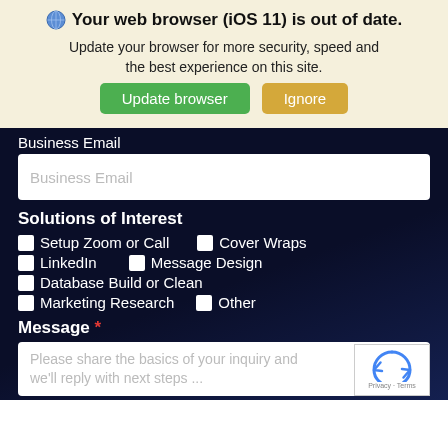Your web browser (iOS 11) is out of date.
Update your browser for more security, speed and the best experience on this site.
Update browser | Ignore
Business Email
Solutions of Interest
Setup Zoom or Call
Cover Wraps
LinkedIn
Message Design
Database Build or Clean
Marketing Research
Other
Message *
Please share the basics of your inquiry and we'll reply with next steps ...